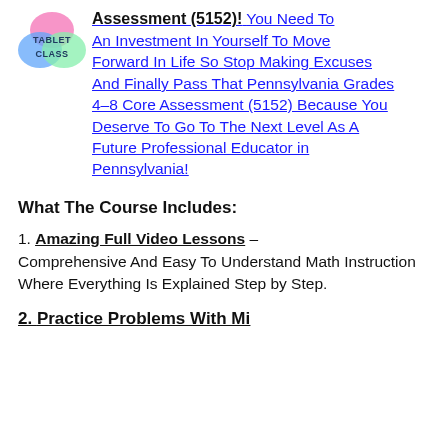[Figure (logo): TabletClass logo — overlapping colored circles with TABLET CLASS text]
Assessment (5152)! You Need To An Investment In Yourself To Move Forward In Life So Stop Making Excuses And Finally Pass That Pennsylvania Grades 4–8 Core Assessment (5152) Because You Deserve To Go To The Next Level As A Future Professional Educator in Pennsylvania!
What The Course Includes:
1. Amazing Full Video Lessons – Comprehensive And Easy To Understand Math Instruction Where Everything Is Explained Step by Step.
2. Practice Problems With Mi...